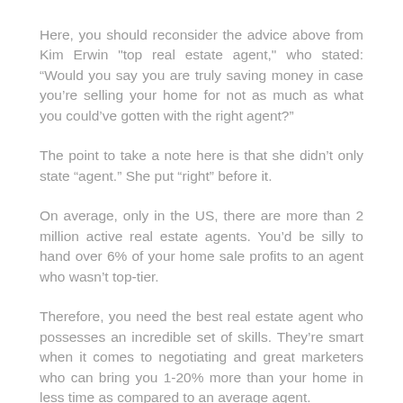Here, you should reconsider the advice above from Kim Erwin "top real estate agent," who stated: “Would you say you are truly saving money in case you’re selling your home for not as much as what you could’ve gotten with the right agent?”
The point to take a note here is that she didn’t only state “agent.” She put “right” before it.
On average, only in the US, there are more than 2 million active real estate agents. You’d be silly to hand over 6% of your home sale profits to an agent who wasn’t top-tier.
Therefore, you need the best real estate agent who possesses an incredible set of skills. They’re smart when it comes to negotiating and great marketers who can bring you 1-20% more than your home in less time as compared to an average agent.